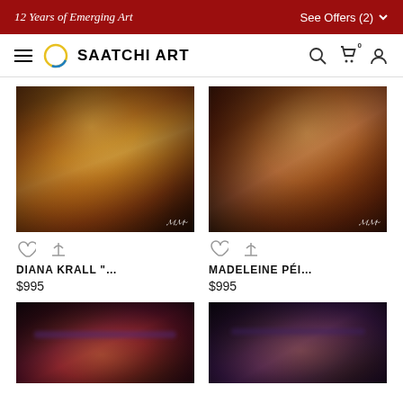12 Years of Emerging Art | See Offers (2)
[Figure (logo): Saatchi Art navigation bar with hamburger menu, circular logo, SAATCHI ART wordmark, search, cart, and account icons]
[Figure (photo): Digital portrait artwork of Diana Krall – close-up face with red lips, blonde hair, dramatic lighting, artist signature watermark]
[Figure (photo): Digital portrait artwork of Madeleine Pei – close-up face, warm tones, artist signature watermark]
DIANA KRALL "... $995
MADELEINE PÉI... $995
[Figure (photo): Digital portrait artwork partial crop – lower portion cut off, warm reddish tones, eyes with dramatic makeup]
[Figure (photo): Digital portrait artwork partial crop – lower portion cut off, darker tones, eyes with dramatic eye makeup]